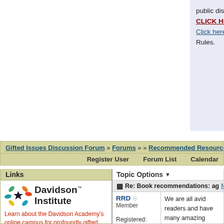public discussion forum. CLICK HERE to Log In. Click here for the Board Rules.
Gifted Issues Discussion Forum » Forums » » Recommended Resources » B
Register User   Forum List   Calendar
Links
[Figure (logo): Davidson Institute logo with colorful star/arrows and bold text Davidson Institute]
Learn about the Davidson Academy's online campus for profoundly gifted students living anywhere in the U.S.
The Davidson Institute is a national nonprofit dedicated to supporting profoundly gifted students through the following
Topic Options
Re: Book recommendations: ag [Mark D.]
RRD  Member  Registered: 02/04/16  Posts: 278
We are all avid readers and have many amazing picture books. These are just "some" of what we are reading to them:
- Luna and Me
- Instructions (Neil Gaim
- Scranimals
- The Mischievians